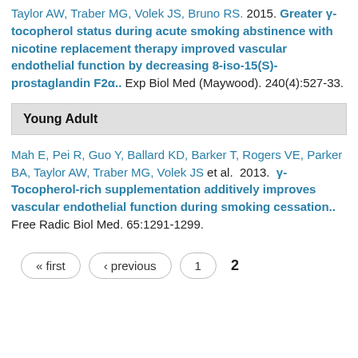Taylor AW, Traber MG, Volek JS, Bruno RS. 2015. Greater γ-tocopherol status during acute smoking abstinence with nicotine replacement therapy improved vascular endothelial function by decreasing 8-iso-15(S)-prostaglandin F2α.. Exp Biol Med (Maywood). 240(4):527-33.
Young Adult
Mah E, Pei R, Guo Y, Ballard KD, Barker T, Rogers VE, Parker BA, Taylor AW, Traber MG, Volek JS et al.. 2013. γ-Tocopherol-rich supplementation additively improves vascular endothelial function during smoking cessation.. Free Radic Biol Med. 65:1291-1299.
« first
‹ previous
1
2